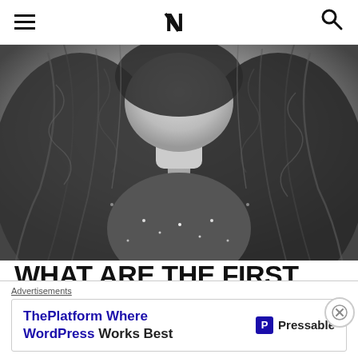≡  N  🔍
[Figure (photo): Black and white close-up photo of a person with long wavy dark hair wearing a textured/sparkly top, face partially visible]
WHAT ARE THE FIRST CHARACTERISTICS PEOPLE SEE ON YOU?
Advertisements
[Figure (infographic): Advertisement banner: 'ThePlatform Where WordPress Works Best' with Pressable logo]